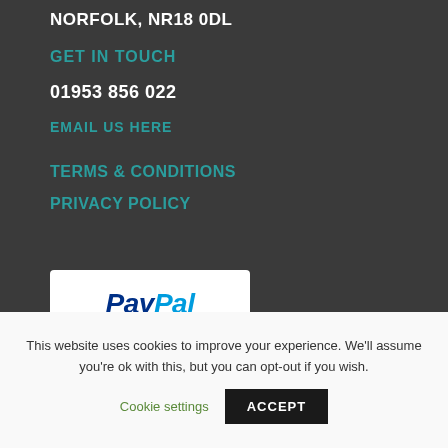NORFOLK, NR18 0DL
GET IN TOUCH
01953 856 022
EMAIL US HERE
TERMS & CONDITIONS
PRIVACY POLICY
[Figure (logo): PayPal logo with VISA and Mastercard icons below]
This website uses cookies to improve your experience. We'll assume you're ok with this, but you can opt-out if you wish.
Cookie settings
ACCEPT